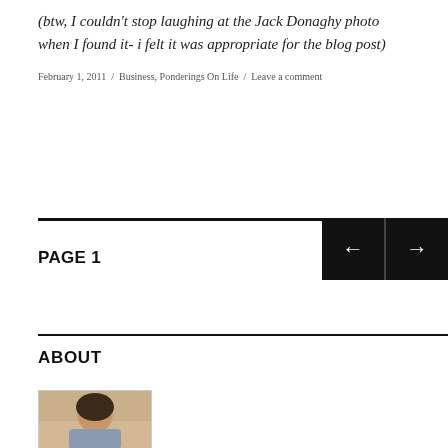(btw, I couldn't stop laughing at the Jack Donaghy photo when I found it- i felt it was appropriate for the blog post)
February 1, 2011 / Business, Ponderings On Life / Leave a comment
PAGE 1
ABOUT
[Figure (photo): Portrait photo of a person, partially visible at bottom of page]